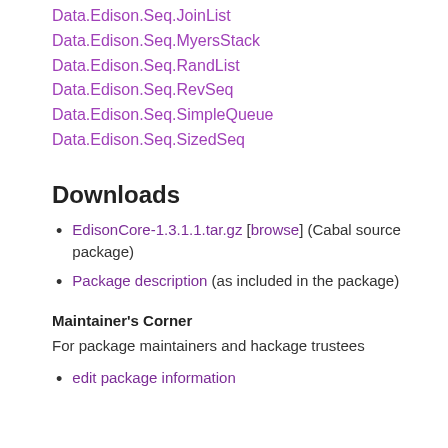Data.Edison.Seq.JoinList
Data.Edison.Seq.MyersStack
Data.Edison.Seq.RandList
Data.Edison.Seq.RevSeq
Data.Edison.Seq.SimpleQueue
Data.Edison.Seq.SizedSeq
Downloads
EdisonCore-1.3.1.1.tar.gz [browse] (Cabal source package)
Package description (as included in the package)
Maintainer's Corner
For package maintainers and hackage trustees
edit package information